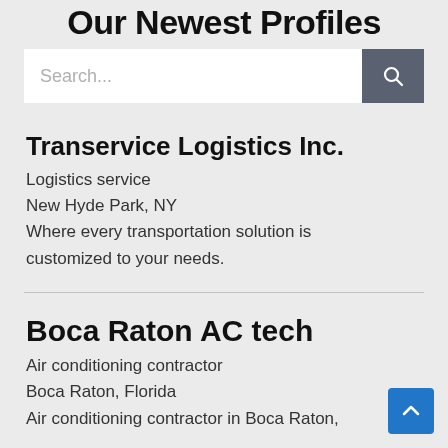Our Newest Profiles
[Figure (screenshot): Search bar with text input placeholder 'Search...' and a dark grey search button with magnifying glass icon]
Transervice Logistics Inc.
Logistics service
New Hyde Park, NY
Where every transportation solution is customized to your needs.
Boca Raton AC tech
Air conditioning contractor
Boca Raton, Florida
Air conditioning contractor in Boca Raton,